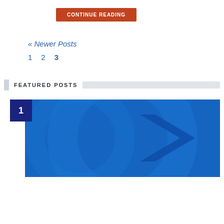CONTINUE READING
« Newer Posts
1   2   3
FEATURED POSTS
[Figure (photo): Featured post thumbnail with blue background and abstract arrow/chevron design, numbered badge '1' in dark navy square overlay]